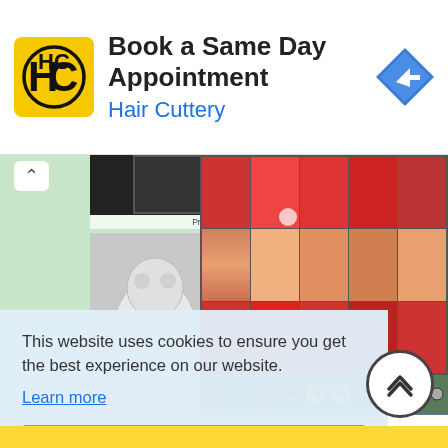[Figure (screenshot): Hair Cuttery advertisement banner: yellow/black HC logo, 'Book a Same Day Appointment' headline, 'Hair Cuttery' subtitle in blue, blue diamond navigation icon on right, ad indicators (triangle and X) on left]
[Figure (screenshot): Website content area with light green background showing postage stamp product images: left panel shows England/World Cup stamps with Union Jack and polar bear design, caption 'Presentation Pack (1st Class x 5)'; right panel shows grid of football/soccer stamps with player faces]
This website uses cookies to ensure you get the best experience on our website.
Learn more
Got it!